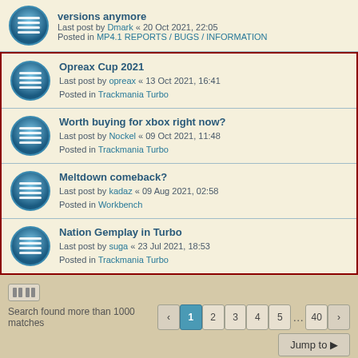versions anymore
Last post by Dmark « 20 Oct 2021, 22:05
Posted in MP4.1 REPORTS / BUGS / INFORMATION
Opreax Cup 2021
Last post by opreax « 13 Oct 2021, 16:41
Posted in Trackmania Turbo
Worth buying for xbox right now?
Last post by Nockel « 09 Oct 2021, 11:48
Posted in Trackmania Turbo
Meltdown comeback?
Last post by kadaz « 09 Aug 2021, 02:58
Posted in Workbench
Nation Gemplay in Turbo
Last post by suga « 23 Jul 2021, 18:53
Posted in Trackmania Turbo
Search found more than 1000 matches
Jump to
Board index   The team   Members   Delete cookies   All times are UTC+01:00
Powered by phpBB® Forum Software © phpBB Limited